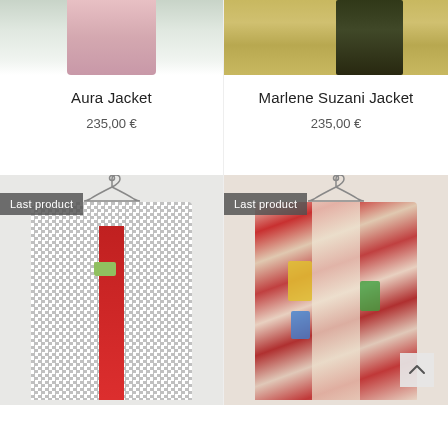[Figure (photo): Cropped bottom of pink outfit on person, top portion of product listing image]
Aura Jacket
235,00 €
[Figure (photo): Cropped bottom of person wearing patterned skirt/dress, top portion of product listing image]
Marlene Suzani Jacket
235,00 €
[Figure (photo): Houndstooth/checked coat jacket on hanger with red lining visible, labeled Last product]
[Figure (photo): Colorful embroidered suzani patterned jacket on hanger, red and multicolor, labeled Last product]